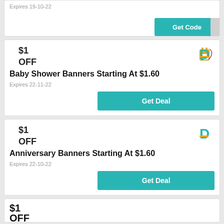Expires 19-10-22
Get Code
$1
OFF
Baby Shower Banners Starting At $1.60
Expires 22-11-22
Get Deal
$1
OFF
Anniversary Banners Starting At $1.60
Expires 22-10-22
Get Deal
$1
OFF